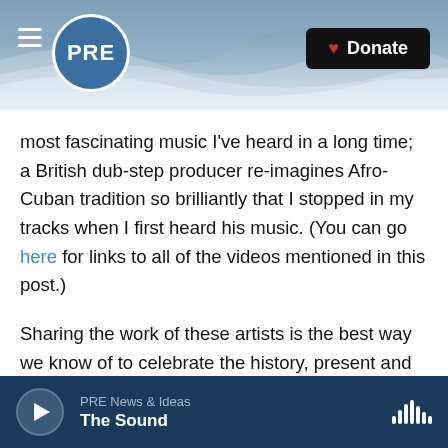[Figure (screenshot): PRE public radio website header with ocean wave background, hamburger menu, PRE circular logo, and black Donate button with heart icon]
most fascinating music I've heard in a long time; a British dub-step producer re-imagines Afro-Cuban tradition so brilliantly that I stopped in my tracks when I first heard his music. (You can go here for links to all of the videos mentioned in this post.)
Sharing the work of these artists is the best way we know of to celebrate the history, present and future of Afro-Latino music. Think of it as our hosting a virtual party where we serve some virtual caipirinhas and Cuba libres, play some fantastic music and have some real, great conversation.
PRE News & Ideas | The Sound